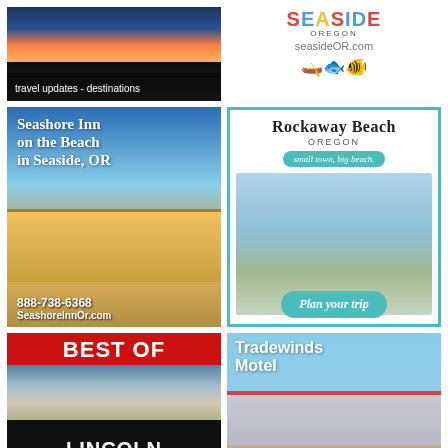[Figure (photo): Travel updates destinations ad with sunset/ocean sky photo and white text overlay]
[Figure (logo): Seaside Oregon tourism ad with colorful logo text, seasideOR.com URL, and fish/kayak illustrations]
[Figure (photo): Seashore Inn on the Beach in Seaside OR ad with hotel photo, phone 888-738-6368 and SeashoreInnOr.com]
[Figure (photo): Rockaway Beach Oregon ad - small town, big beach - with Plan your trip button]
[Figure (photo): Best of Lincoln City Hotels ad with red and black design and yellow italic Hotels text]
[Figure (photo): Tradewinds Motel Rockaway Beach ad with phone 800-824-0938]